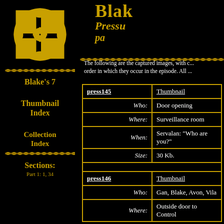[Figure (logo): Golden Celtic knot / Blake's 7 logo on black background]
Blake's 7 (truncated: Blak...)
Pressu... pa... (truncated subtitle lines)
[Figure (illustration): Golden rope divider line]
The following are the captured images, with c... order in which they occur in the episode. All ...
Blake's 7
Thumbnail Index
Collection Index
[Figure (illustration): Golden rope divider line in sidebar]
Sections:
Part 1: 1, 34
| press145 | Thumbnail |
| --- | --- |
| Who: | Door opening |
| Where: | Surveillance room |
| When: | Servalan: "Who are you?" |
| Size: | 30 Kb. |
| press146 | Thumbnail |
| --- | --- |
| Who: | Gan, Blake, Avon, Vila |
| Where: | Outside door to Control |